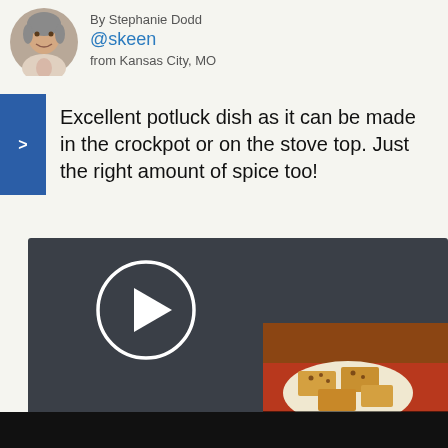By Stephanie Dodd
@skeen
from Kansas City, MO
Excellent potluck dish as it can be made in the crockpot or on the stove top. Just the right amount of spice too!
[Figure (screenshot): Video player with dark background, large circular play button on left side, and a thumbnail of Pumpkin Cream Cheese Bars on the right with a small play button and title label]
Pumpkin Cream Cheese Bars